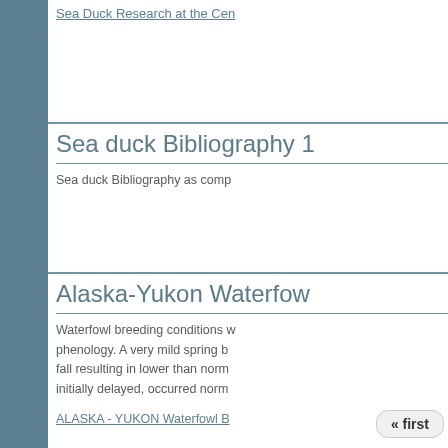Sea Duck Research at the Cen
Sea duck Bibliography 1
Sea duck Bibliography as comp
Alaska-Yukon Waterfow
Waterfowl breeding conditions phenology. A very mild spring b fall resulting in lower than norm initially delayed, occurred norm
ALASKA - YUKON Waterfowl B
« first